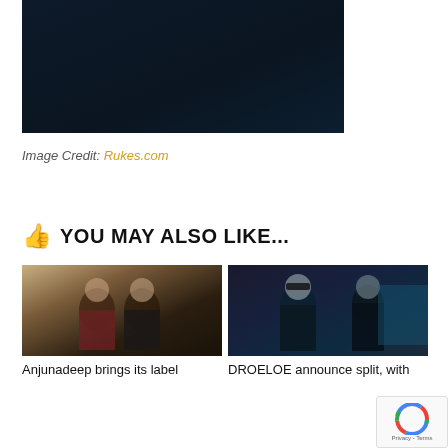[Figure (photo): Dark navy/dark blue toned photo partially visible at top of page]
Image Credit: Rukes.com
👍 YOU MAY ALSO LIKE...
[Figure (photo): Two young men standing together, one in dark red jacket, one in dark jacket, against yellow wall background]
[Figure (photo): Two people in dark setting with blue lighting, one wearing a cap]
Anjunadeep brings its label
DROELOE announce split, with